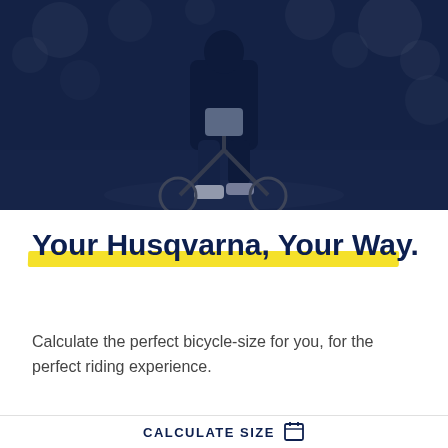[Figure (photo): A cyclist riding a bicycle from behind, dark blue tinted photo with bokeh background lights, showing the rider's legs and rear of the bike on a road.]
Your Husqvarna, Your Way.
Calculate the perfect bicycle-size for you, for the perfect riding experience.
CALCULATE SIZE